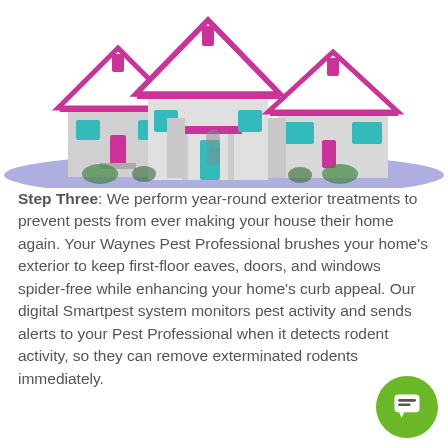[Figure (illustration): 3D illustration of three connected houses with white/gray siding, magenta/pink roof trim, teal/cyan window frames and shutters, and blue-purple ground/driveway area.]
Step Three: We perform year-round exterior treatments to prevent pests from ever making your house their home again. Your Waynes Pest Professional brushes your home's exterior to keep first-floor eaves, doors, and windows spider-free while enhancing your home's curb appeal. Our digital Smartpest system monitors pest activity and sends alerts to your Pest Professional when it detects rodent activity, so they can remove exterminated rodents immediately.